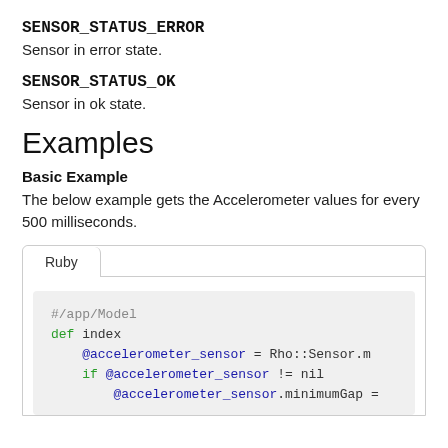SENSOR_STATUS_ERROR
Sensor in error state.
SENSOR_STATUS_OK
Sensor in ok state.
Examples
Basic Example
The below example gets the Accelerometer values for every 500 milliseconds.
[Figure (screenshot): Ruby code tab showing code block with #/app/Model comment, def index, @accelerometer_sensor = Rho::Sensor.m..., if @accelerometer_sensor != nil, @accelerometer_sensor.minimumGap =]